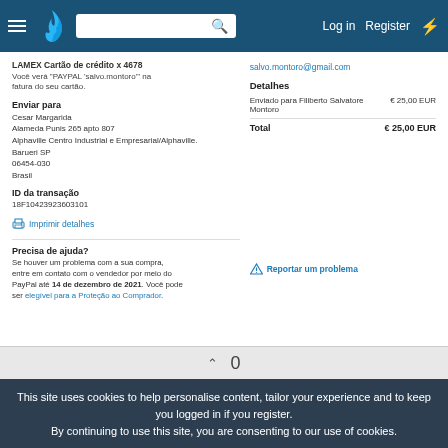Log in  Register
LAMEX Cartão de crédito x 4678
Você verá "PAYPAL 'salvo.montoro'" na fatura do seu cartão.
salvo.montoro@gmail.com
Detalhes
Enviado para Filiberto Salvatore Montoro  € 25,00 EUR
Total  € 25,00 EUR
Enviar para
Cesar Margarida
Alameda Punis 265 apto 807
Alphaville Centro Industrial e Empresarial/Alphaville.
Barueri SP
06454-030
Brasil
ID da transação
18F10423923603101
Imprimir detalhes
Precisa de ajuda?
Se houver um problema com a sua compra, entre em contato com o vendedor por meio do PayPal até 14 de dezembro de 2021. Você pode ser elegível para a Proteção ao Comprador.
Reportar um problema
0
This site uses cookies to help personalise content, tailor your experience and to keep you logged in if you register.
By continuing to use this site, you are consenting to our use of cookies.
✓ Accept   Learn more...